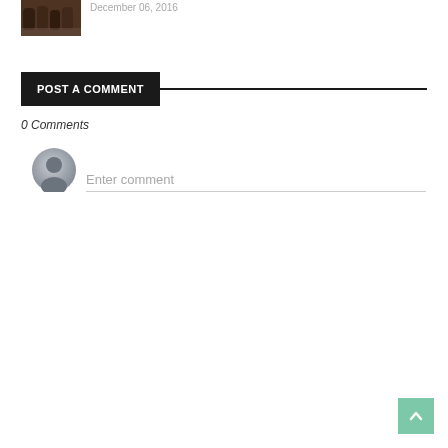[Figure (photo): Thumbnail image of rusty metal pipes or cylinders on a surface]
December 06, 2016
POST A COMMENT
0 Comments
[Figure (illustration): Generic user avatar icon — grey circle with silhouette of a person]
Enter comment